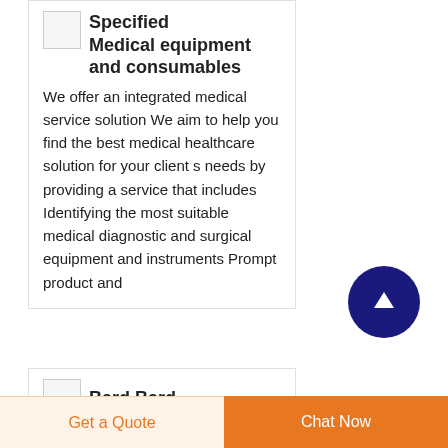Specified Medical equipment and consumables
We offer an integrated medical service solution We aim to help you find the best medical healthcare solution for your client s needs by providing a service that includes Identifying the most suitable medical diagnostic and surgical equipment and instruments Prompt product and
[Figure (illustration): Circular dark navy blue button with white upward arrow icon]
Bard Bard
Get a Quote
Chat Now